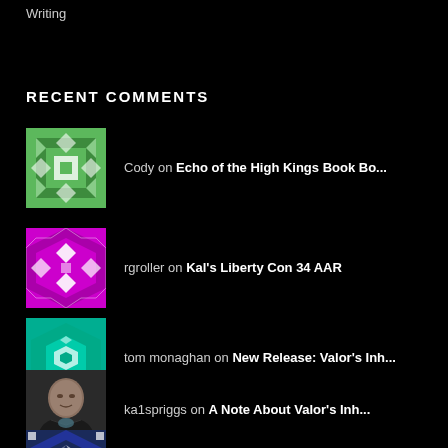Writing
RECENT COMMENTS
Cody on Echo of the High Kings Book Bo...
rgroller on Kal's Liberty Con 34 AAR
tom monaghan on New Release: Valor's Inh...
ka1spriggs on A Note About Valor's Inh...
Susan Bishop on A Note About Valor's Inh...